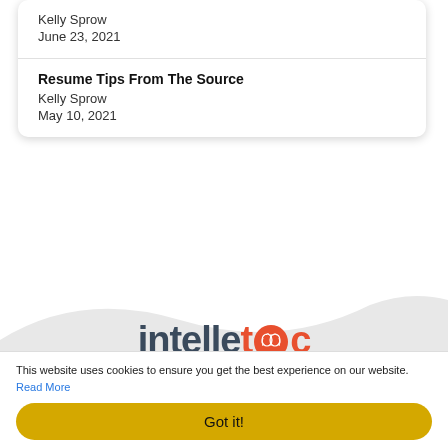Kelly Sprow
June 23, 2021
Resume Tips From The Source
Kelly Sprow
May 10, 2021
[Figure (logo): Intelletec logo with dark blue 'intelle' text and red 'tec' text with a brain icon inside the 'o', and tagline 'INTELLIGENT TECHNICAL RECRUITMENT']
This website uses cookies to ensure you get the best experience on our website. Read More
Got it!